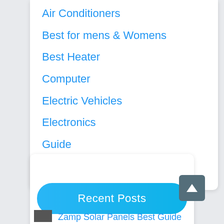Air Conditioners
Best for mens & Womens
Best Heater
Computer
Electric Vehicles
Electronics
Guide
Home & Appliances
Recent Posts
Zamp Solar Panels Best Guide